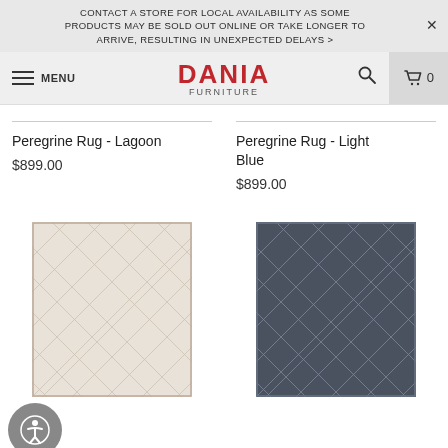CONTACT A STORE FOR LOCAL AVAILABILITY AS SOME PRODUCTS MAY BE SOLD OUT ONLINE OR TAKE LONGER TO ARRIVE, RESULTING IN UNEXPECTED DELAYS >
[Figure (logo): Dania Furniture logo with navigation bar including menu, search, and cart icons]
Peregrine Rug - Lagoon
$899.00
Peregrine Rug - Light Blue
$899.00
[Figure (photo): Light beige/cream colored rug with diamond geometric pattern]
[Figure (photo): Dark charcoal/navy colored rug with diamond geometric pattern]